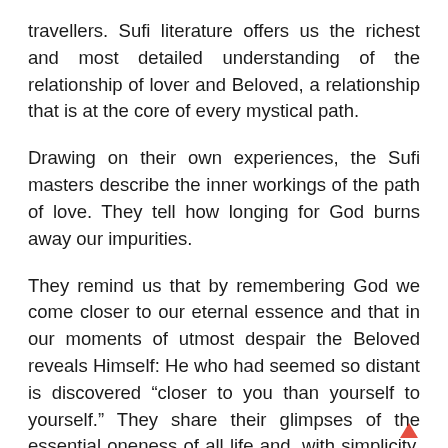travellers. Sufi literature offers us the richest and most detailed understanding of the relationship of lover and Beloved, a relationship that is at the core of every mystical path.
Drawing on their own experiences, the Sufi masters describe the inner workings of the path of love. They tell how longing for God burns away our impurities.
They remind us that by remembering God we come closer to our eternal essence and that in our moments of utmost despair the Beloved reveals Himself: He who had seemed so distant is discovered “closer to you than yourself to yourself.” They share their glimpses of the essential oneness of all life and, with simplicity, directness, and humor, describe the paradoxical nature of this mysti journey.